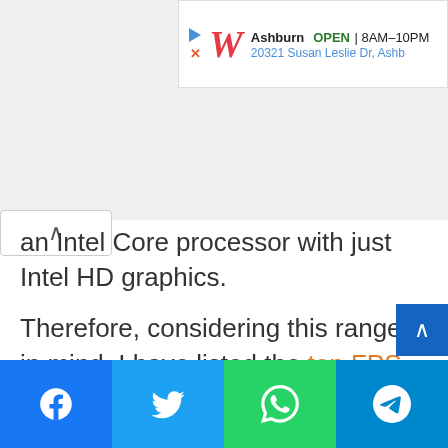[Figure (screenshot): Advertisement banner for Walgreens (Ashburn location), showing play/X icons, Walgreens logo, store name, OPEN status 8AM-10PM, and address 20321 Susan Leslie Dr, Ashb]
an Intel Core processor with just Intel HD graphics.
Therefore, considering this range in mind, I have listed the top FPS games you can play even with a low-end PC and enjoy gaming as everyone is doing. These include single-player as well as multiplayer fps games that are currently very popular or have been popular and immerse the players to come back for more.
[Figure (infographic): Social media share buttons row: Facebook (blue), Twitter (light blue), WhatsApp (green), Telegram (dark blue)]